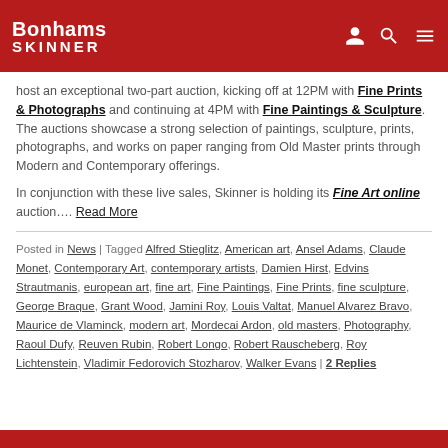Bonhams SKINNER
host an exceptional two-part auction, kicking off at 12PM with Fine Prints & Photographs and continuing at 4PM with Fine Paintings & Sculpture. The auctions showcase a strong selection of paintings, sculpture, prints, photographs, and works on paper ranging from Old Master prints through Modern and Contemporary offerings.
In conjunction with these live sales, Skinner is holding its Fine Art online auction…. Read More
Posted in News | Tagged Alfred Stieglitz, American art, Ansel Adams, Claude Monet, Contemporary Art, contemporary artists, Damien Hirst, Edvins Strautmanis, european art, fine art, Fine Paintings, Fine Prints, fine sculpture, George Braque, Grant Wood, Jamini Roy, Louis Valtat, Manuel Alvarez Bravo, Maurice de Vlaminck, modern art, Mordecai Ardon, old masters, Photography, Raoul Dufy, Reuven Rubin, Robert Longo, Robert Rauscheberg, Roy Lichtenstein, Vladimir Fedorovich Stozharov, Walker Evans | 2 Replies